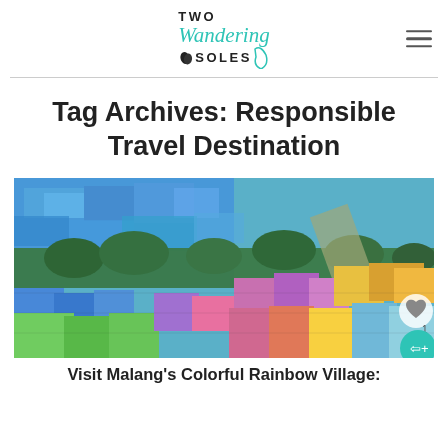Two Wandering Soles
Tag Archives: Responsible Travel Destination
[Figure (photo): Aerial view of a colorful rainbow village (Kampung Warna-Warni) in Malang, Indonesia, showing brightly painted rooftops in blue, purple, pink, green, yellow, and orange colors, with trees and roads visible between the buildings.]
Visit Malang's Colorful Rainbow Village: